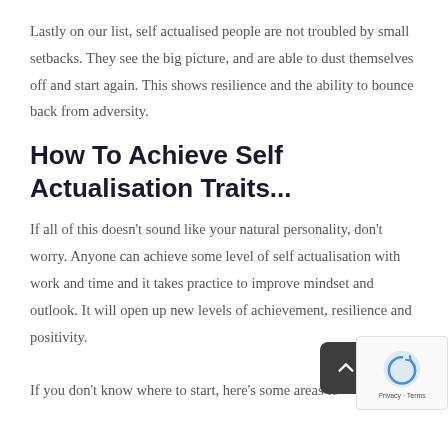Lastly on our list, self actualised people are not troubled by small setbacks. They see the big picture, and are able to dust themselves off and start again. This shows resilience and the ability to bounce back from adversity.
How To Achieve Self Actualisation Traits...
If all of this doesn't sound like your natural personality, don't worry. Anyone can achieve some level of self actualisation with work and time and it takes practice to improve mindset and outlook. It will open up new levels of achievement, resilience and positivity.
If you don't know where to start, here's some areas to